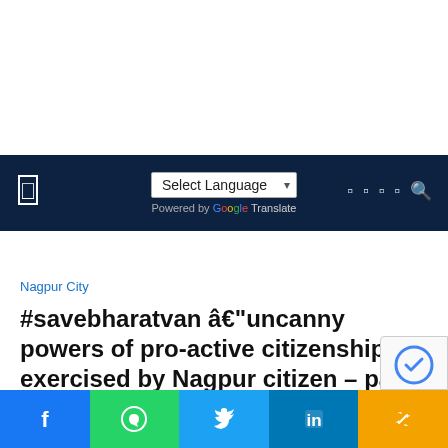Select Language | Powered by Google Translate
Nagpur City
#savebharatvan â€"uncanny powers of pro-active citizenship exercised by Nagpur citizen – part 1
written by Dr. Abheek Ghosh
September 22, 2019
f | WhatsApp | Twitter | in | Link